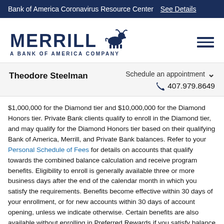Bank of America Coronavirus Resource Center  See Details
[Figure (logo): Merrill Lynch bull logo with text: MERRILL A BANK OF AMERICA COMPANY]
Theodore Steelman   Schedule an appointment   407.979.8649
$1,000,000 for the Diamond tier and $10,000,000 for the Diamond Honors tier. Private Bank clients qualify to enroll in the Diamond tier, and may qualify for the Diamond Honors tier based on their qualifying Bank of America, Merrill, and Private Bank balances. Refer to your Personal Schedule of Fees for details on accounts that qualify towards the combined balance calculation and receive program benefits. Eligibility to enroll is generally available three or more business days after the end of the calendar month in which you satisfy the requirements. Benefits become effective within 30 days of your enrollment, or for new accounts within 30 days of account opening, unless we indicate otherwise. Certain benefits are also available without enrolling in Preferred Rewards if you satisfy balance and other requirements.